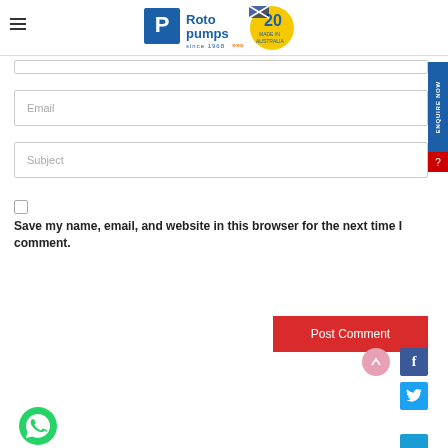[Figure (logo): Roto Pumps logo with 'since 1968' text and '20 years Made in Australia' anniversary badge]
Email
Subject
Save my name, email, and website in this browser for the next time I comment.
Post Comment
[Figure (logo): WhatsApp green phone icon]
[Figure (logo): Facebook social icon (blue)]
[Figure (logo): Twitter social icon (light blue)]